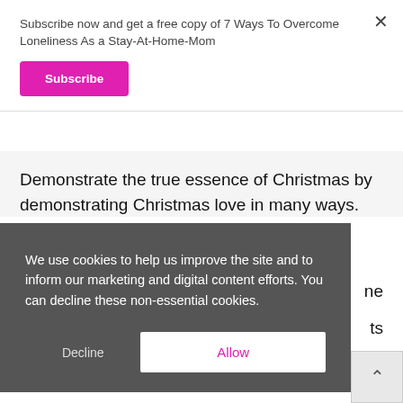Subscribe now and get a free copy of 7 Ways To Overcome Loneliness As a Stay-At-Home-Mom
Subscribe
Demonstrate the true essence of Christmas by demonstrating Christmas love in many ways.
We use cookies to help us improve the site and to inform our marketing and digital content efforts. You can decline these non-essential cookies.
Decline
Allow